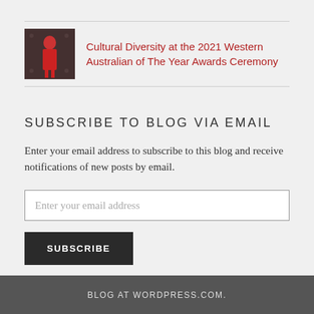[Figure (photo): Small thumbnail photo of a person in red/pink outfit against a dark patterned background]
Cultural Diversity at the 2021 Western Australian of The Year Awards Ceremony
SUBSCRIBE TO BLOG VIA EMAIL
Enter your email address to subscribe to this blog and receive notifications of new posts by email.
Enter your email address
SUBSCRIBE
Join 476 other followers
BLOG AT WORDPRESS.COM.